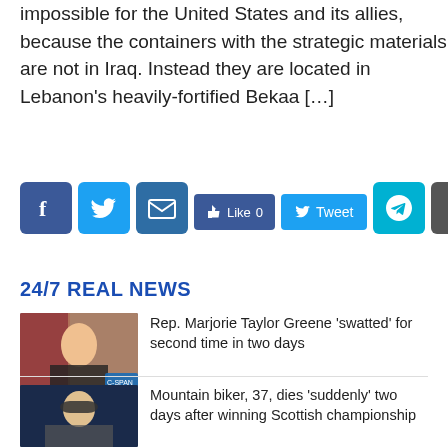impossible for the United States and its allies, because the containers with the strategic materials are not in Iraq. Instead they are located in Lebanon's heavily-fortified Bekaa […]
[Figure (infographic): Social sharing buttons: Facebook, Twitter, Email, Like 0, Tweet, Telegram, Share]
24/7 REAL NEWS
[Figure (photo): Photo of Rep. Marjorie Taylor Greene sitting at a hearing, C-SPAN watermark visible]
Rep. Marjorie Taylor Greene 'swatted' for second time in two days
[Figure (photo): Photo of a smiling man wearing a cap, appearing to be the mountain biker]
Mountain biker, 37, dies 'suddenly' two days after winning Scottish championship